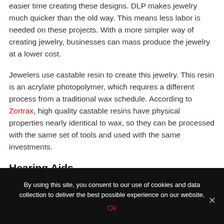easier time creating these designs. DLP makes jewelry much quicker than the old way. This means less labor is needed on these projects. With a more simpler way of creating jewelry, businesses can mass produce the jewelry at a lower cost.
Jewelers use castable resin to create this jewelry. This resin is an acrylate photopolymer, which requires a different process from a traditional wax schedule. According to Zortrax, high quality castable resins have physical properties nearly identical to wax, so they can be processed with the same set of tools and used with the same investments.
Hearing Aids
By using this site, you consent to our use of cookies and data collection to deliver the best possible experience on our website.